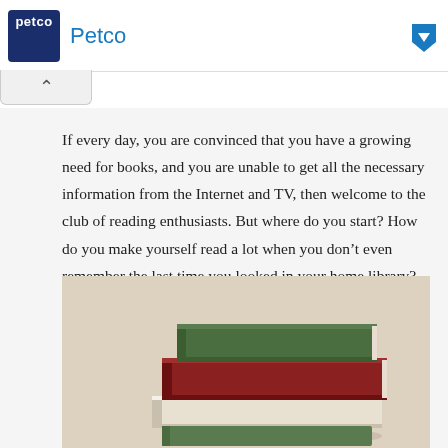[Figure (screenshot): Petco advertisement banner with dark blue logo, 'Petco' text in blue, and a blue arrow/play button on the right. Ad controls (play/close) on the left side.]
If every day, you are convinced that you have a growing need for books, and you are unable to get all the necessary information from the Internet and TV, then welcome to the club of reading enthusiasts. But where do you start? How do you make yourself read a lot when you don't even remember the last time you looked in your home library? Come on, as usual, we'll take it a step at a time.
[Figure (photo): Stack of books on a warm beige/cream background. Three books stacked: green on top, red/burgundy in middle, white/cream at bottom, with a partial green book visible at the very bottom.]